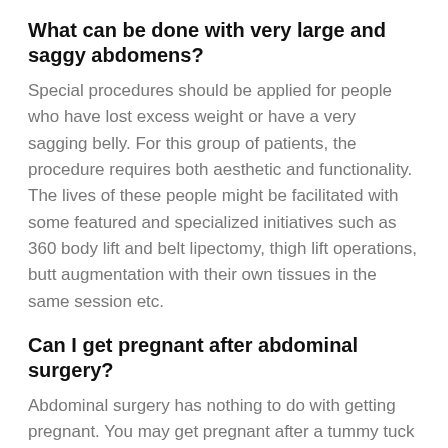What can be done with very large and saggy abdomens?
Special procedures should be applied for people who have lost excess weight or have a very sagging belly. For this group of patients, the procedure requires both aesthetic and functionality. The lives of these people might be facilitated with some featured and specialized initiatives such as 360 body lift and belt lipectomy, thigh lift operations, butt augmentation with their own tissues in the same session etc.
Can I get pregnant after abdominal surgery?
Abdominal surgery has nothing to do with getting pregnant. You may get pregnant after a tummy tuck operation. Naturally pregnancy will cause some amount